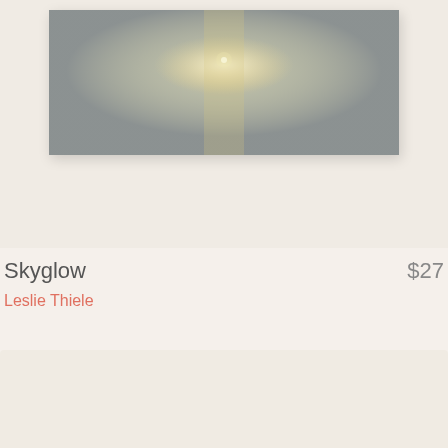[Figure (photo): Artwork photograph showing an abstract painting on a white wall. The painting is landscape-oriented, featuring muted gray and soft golden/cream tones with a glowing central area and textured surface resembling sky or atmosphere.]
Skyglow
$27
Leslie Thiele
[Figure (other): Bottom section showing the top portion of another artwork card with a plain warm off-white/cream background, content not visible.]